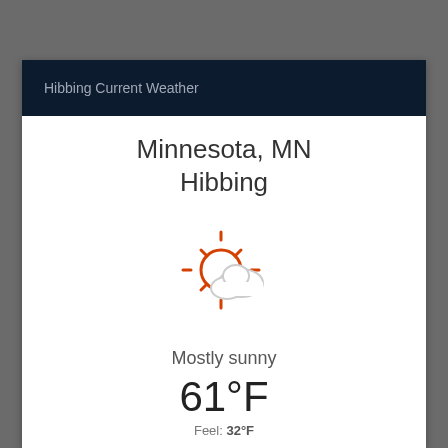Hibbing Current Weather
Minnesota, MN
Hibbing
[Figure (illustration): Partly sunny weather icon: orange sun with rays and a white cloud in front]
Mostly sunny
61°F
Feel: 32°F
Visibility: 19 km
Wind: WSW 7 km/h